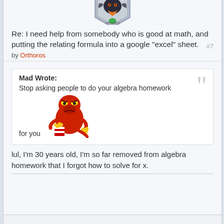[Figure (illustration): Partial view of a fantasy/gaming avatar badge with a dragon-like creature and shield emblem for user 'Orthoros']
Re: I need help from somebody who is good at math, and putting the relating formula into a google "excel" sheet.
by Orthoros
#7
Mad Wrote: Stop asking people to do your algebra homework for you
[Figure (illustration): Cartoon red angry dinosaur/dragon character holding a bucket of popcorn]
lul, I'm 30 years old, I'm so far removed from algebra homework that I forgot how to solve for x.